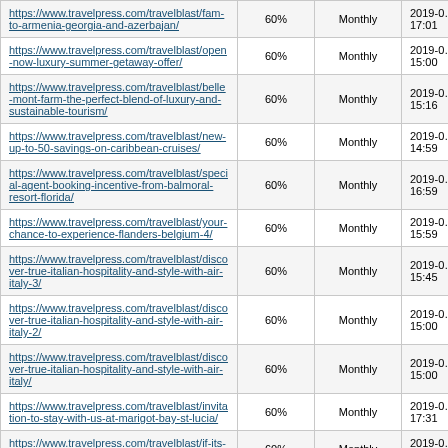| https://www.travelpress.com/travelblast/fam-to-armenia-georgia-and-azerbajan/ | 60% | Monthly | 2019-0… 17:01 |
| https://www.travelpress.com/travelblast/open-now-luxury-summer-getaway-offer/ | 60% | Monthly | 2019-0… 15:00 |
| https://www.travelpress.com/travelblast/belle-mont-farm-the-perfect-blend-of-luxury-and-sustainable-tourism/ | 60% | Monthly | 2019-0… 15:16 |
| https://www.travelpress.com/travelblast/new-up-to-50-savings-on-caribbean-cruises/ | 60% | Monthly | 2019-0… 14:59 |
| https://www.travelpress.com/travelblast/special-agent-booking-incentive-from-balmoral-resort-florida/ | 60% | Monthly | 2019-0… 16:59 |
| https://www.travelpress.com/travelblast/your-chance-to-experience-flanders-belgium-4/ | 60% | Monthly | 2019-0… 15:59 |
| https://www.travelpress.com/travelblast/discover-true-italian-hospitality-and-style-with-air-italy-3/ | 60% | Monthly | 2019-0… 15:45 |
| https://www.travelpress.com/travelblast/discover-true-italian-hospitality-and-style-with-air-italy-2/ | 60% | Monthly | 2019-0… 15:00 |
| https://www.travelpress.com/travelblast/discover-true-italian-hospitality-and-style-with-air-italy/ | 60% | Monthly | 2019-0… 15:00 |
| https://www.travelpress.com/travelblast/invitation-to-stay-with-us-at-marigot-bay-st-lucia/ | 60% | Monthly | 2019-0… 17:31 |
| https://www.travelpress.com/travelblast/if-its-worth-experiencing-its-worth-protecting/ | 60% | Monthly | 2019-0… 16:29 |
| https://www.travelpress.com/travelblast/invitation-to-taiwan-hong-kong-travel-agents-seminars-in-… | 60% | Monthly | 2019-0… |